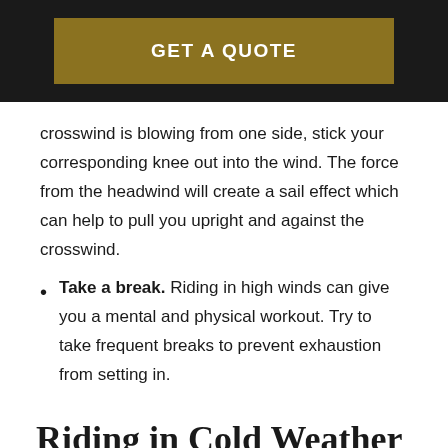[Figure (other): GET A QUOTE button on dark background header bar]
crosswind is blowing from one side, stick your corresponding knee out into the wind. The force from the headwind will create a sail effect which can help to pull you upright and against the crosswind.
Take a break. Riding in high winds can give you a mental and physical workout. Try to take frequent breaks to prevent exhaustion from setting in.
Riding in Cold Weather